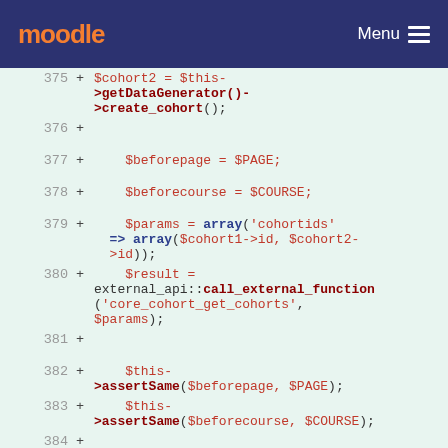moodle  Menu
[Figure (screenshot): Moodle code diff view showing PHP code lines 375-385 with line numbers, plus signs, and syntax-highlighted code on a light green background.]